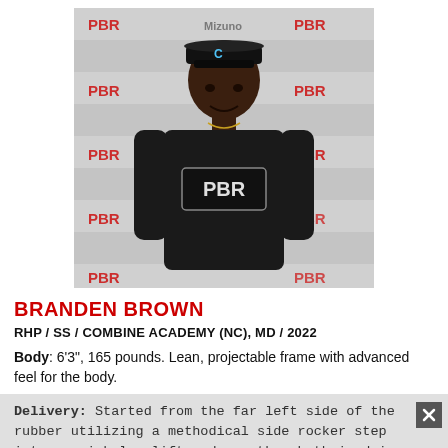[Figure (photo): Headshot photo of Branden Brown wearing a black PBR (Prep Baseball Report) shirt and cap, standing in front of a PBR/Mizuno branded backdrop]
BRANDEN BROWN
RHP / SS / COMBINE ACADEMY (NC), MD / 2022
Body: 6'3", 165 pounds. Lean, projectable frame with advanced feel for the body.
Delivery: Started from the far left side of the rubber utilizing a methodical side rocker step into a quick leg lift and smooth, rhythmic drive out towards the plate